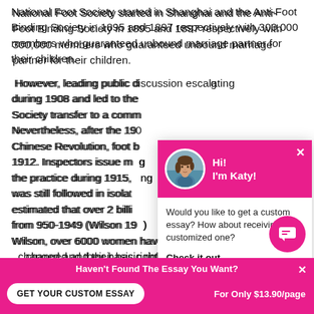National Foot Society started in Shanghai and the Anti-Foot Binding Society in 1895 and 1897 respectively with 300,000 members who guaranteed unbound marriage partner for their children.
However, leading public d... during 1908 and led to the... Society transfer to a comm... Nevertheless, after the 190... Chinese Revolution, foot b... 1912. Inspectors issue mo... the practice during 1915, ... was still followed in isola... estimated that over 2 billi... from 950-1949 (Wilson 19... Wilson, over 6000 women have their bodies irreversably changed and their basic rights violated every day.
[Figure (screenshot): Chat popup widget with avatar of a woman named Katy, pink header with greeting 'Hi! I'm Katy!', body text 'Would you like to get a custom essay? How about receiving a customized one?' with a 'Check it out' link.]
Haven't Found The Essay You Want?
GET YOUR CUSTOM ESSAY    For Only $13.90/page